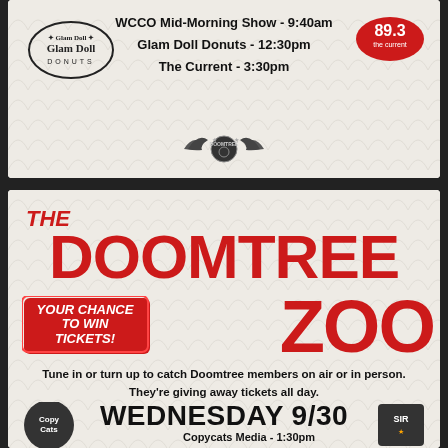[Figure (infographic): Top promotional panel with Glam Doll Donuts logo (left), 89.3 The Current logo (right), centered schedule text listing WCCO Mid-Morning Show 9:40am, Glam Doll Donuts 12:30pm, The Current 3:30pm, and Doomtree winged logo at bottom center. Background has art deco scallop pattern.]
[Figure (infographic): Bottom promotional panel for The Doomtree Zoo ticket giveaway. Large red bold text reading THE DOOMTREE ZOO. Red badge reading YOUR CHANCE TO WIN TICKETS! Body text: Tune in or turn up to catch Doomtree members on air or in person. They're giving away tickets all day. Large bold text: WEDNESDAY 9/30. Below: Copycats Media - 1:30pm with Copycats logo (left) and Sirius logo (right). Background has art deco scallop pattern.]